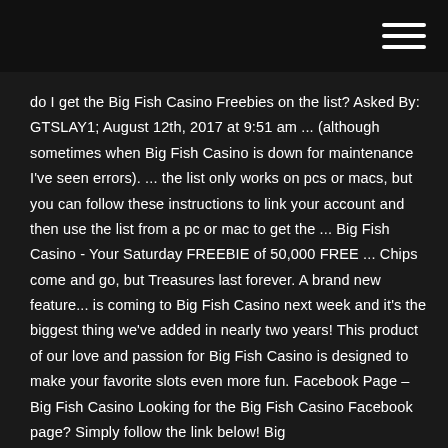do I get the Big Fish Casino Freebies on the list? Asked By: GTSLAY1; August 12th, 2017 at 9:51 am ... (although sometimes when Big Fish Casino is down for maintenance I've seen errors). ... the list only works on pcs or macs, but you can follow these instructions to link your account and then use the list from a pc or mac to get the ... Big Fish Casino - Your Saturday FREEBIE of 50,000 FREE ... Chips come and go, but Treasures last forever. A brand new feature... is coming to Big Fish Casino next week and it's the biggest thing we've added in nearly two years! This product of our love and passion for Big Fish Casino is designed to make your favorite slots even more fun. Facebook Page – Big Fish Casino Looking for the Big Fish Casino Facebook page? Simply follow the link below! Big